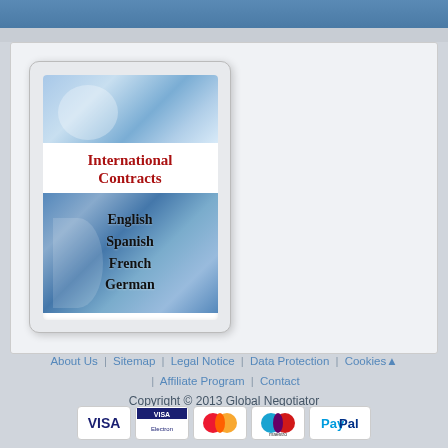[Figure (illustration): Book cover for 'International Contracts' showing a legal/business book with blue abstract background design, with languages listed: English, Spanish, French, German]
About Us | Sitemap | Legal Notice | Data Protection | Cookies | Affiliate Program | Contact
Copyright © 2013 Global Negotiator
[Figure (infographic): Payment method icons: VISA, VISA Electron, MasterCard, Maestro, PayPal]